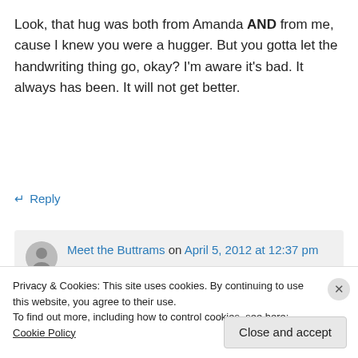Look, that hug was both from Amanda AND from me, cause I knew you were a hugger. But you gotta let the handwriting thing go, okay? I'm aware it's bad. It always has been. It will not get better.
↵ Reply
Meet the Buttrams on April 5, 2012 at 12:37 pm
Privacy & Cookies: This site uses cookies. By continuing to use this website, you agree to their use. To find out more, including how to control cookies, see here: Cookie Policy
Close and accept